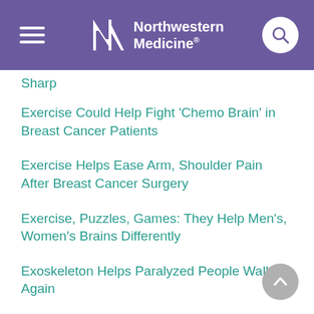Northwestern Medicine
Sharp
Exercise Could Help Fight 'Chemo Brain' in Breast Cancer Patients
Exercise Helps Ease Arm, Shoulder Pain After Breast Cancer Surgery
Exercise, Puzzles, Games: They Help Men's, Women's Brains Differently
Exoskeleton Helps Paralyzed People Walk Again
Experiences of Racism Tied to Worsening Memory, Thinking in Older Black Americans
Experimental Treatment Offers New Hope Against Lupus
Experts Offer Guidance on a Common But Underreported Menopause Syndrome